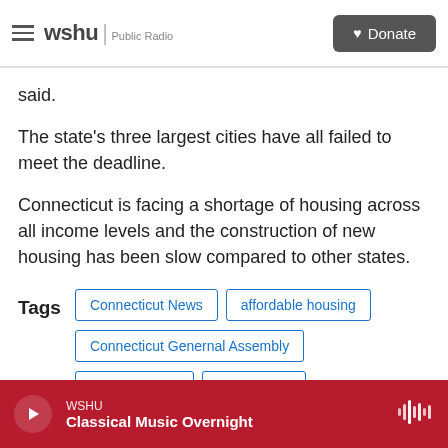WSHU Public Radio | Donate
said.
The state’s three largest cities have all failed to meet the deadline.
Connecticut is facing a shortage of housing across all income levels and the construction of new housing has been slow compared to other states.
Tags: Connecticut News | affordable housing | Connecticut Genernal Assembly | Ebong Udoma | Connecticut
WSHU Classical Music Overnight